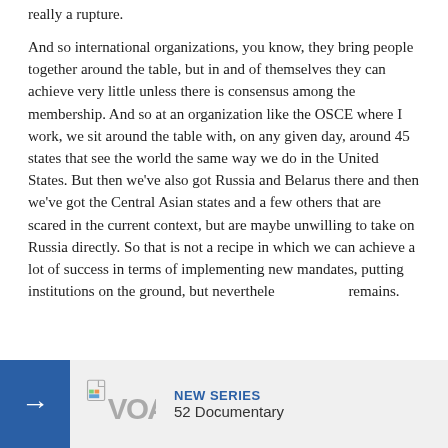really a rupture.
And so international organizations, you know, they bring people together around the table, but in and of themselves they can achieve very little unless there is consensus among the membership. And so at an organization like the OSCE where I work, we sit around the table with, on any given day, around 45 states that see the world the same way we do in the United States. But then we've also got Russia and Belarus there and then we've got the Central Asian states and a few others that are scared in the current context, but are maybe unwilling to take on Russia directly. So that is not a recipe in which we can achieve a lot of success in terms of implementing new mandates, putting institutions on the ground, but neverthele... remains.
[Figure (logo): VOA (Voice of America) logo with blue arrow button on left side, grey background with VOA logo and text 'NEW SERIES 52 Documentary']